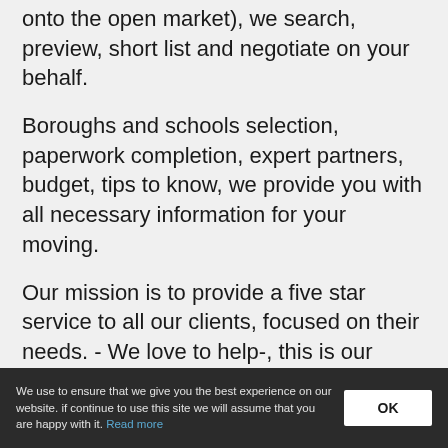[Figure (photo): Partial image strip visible at top right of page, appears to be a blue-toned photo]
onto the open market), we search, preview, short list and negotiate on your behalf.
Boroughs and schools selection, paperwork completion, expert partners, budget, tips to know, we provide you with all necessary information for your moving.
Our mission is to provide a five star service to all our clients, focused on their needs. - We love to help-, this is our “Leitmotiv” and the mean reason to create ASSISTyouUP.
We adapt our assistance programs to fit
We use to ensure that we give you the best experience on our website. if continue to use this site we will assume that you are happy with it. Read more